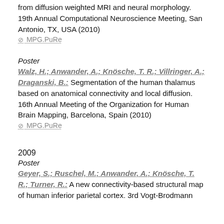from diffusion weighted MRI and neural morphology. 19th Annual Computational Neuroscience Meeting, San Antonio, TX, USA (2010)
⊘ MPG.PuRe
Poster
Walz, H.; Anwander, A.; Knösche, T. R.; Villringer, A.; Draganski, B.: Segmentation of the human thalamus based on anatomical connectivity and local diffusion. 16th Annual Meeting of the Organization for Human Brain Mapping, Barcelona, Spain (2010)
⊘ MPG.PuRe
2009
Poster
Geyer, S.; Ruschel, M.; Anwander, A.; Knösche, T. R.; Turner, R.: A new connectivity-based structural map of human inferior parietal cortex. 3rd Vogt-Brodmann